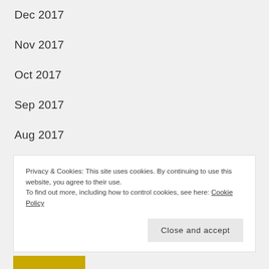Dec 2017
Nov 2017
Oct 2017
Sep 2017
Aug 2017
Jul 2017
Jun 2017
May 2017
FOLLOW VIA EMAIL
Privacy & Cookies: This site uses cookies. By continuing to use this website, you agree to their use.
To find out more, including how to control cookies, see here: Cookie Policy